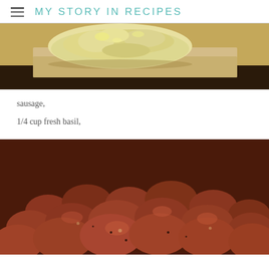MY STORY IN RECIPES
[Figure (photo): Close-up photo of mashed or crushed potato/garlic ingredient on a wooden cutting board, yellow-white texture]
sausage,
1/4 cup fresh basil,
[Figure (photo): Close-up photo of browned cooked sausage pieces/chunks piled together, showing meat texture with seasoning]